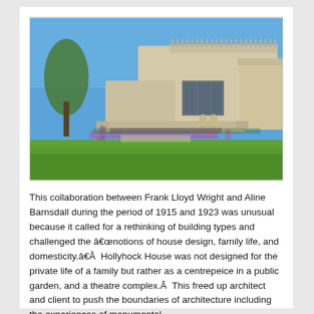[Figure (photo): Exterior photograph of Hollyhock House designed by Frank Lloyd Wright. The image shows a Mayan Revival style concrete building with a flat roof and decorative frieze, surrounded by a well-manicured green lawn with purple flowering plants arranged in geometric patterns in front of the building. Trees are visible on the left side and background, under a clear blue sky.]
This collaboration between Frank Lloyd Wright and Aline Barnsdall during the period of 1915 and 1923 was unusual because it called for a rethinking of building types and challenged the “notions of house design, family life, and domesticity.”  Hollyhock House was not designed for the private life of a family but rather as a centrepeice in a public garden, and a theatre complex.  This freed up architect and client to push the boundaries of architecture including the experiences of monumental